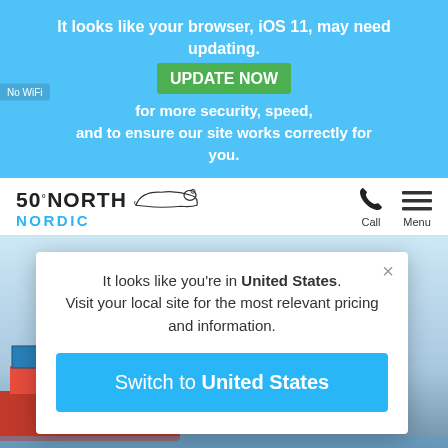It looks like your browser, iOS 11, may need updating.
UPDATE NOW for more security, speed, and to ensure our site works correctly for you.
[Figure (logo): 50 North Nordic logo with polar bear silhouette]
Call   Menu
[Figure (screenshot): Background hero image showing shipping containers and water]
It looks like you're in United States. Visit your local site for the most relevant pricing and information.
Switch to United States